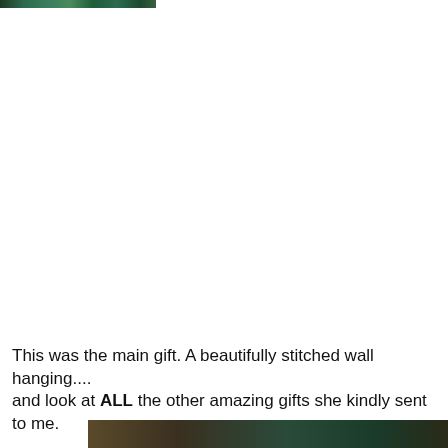[Figure (photo): Top cropped portion of a green stitched wall hanging photo]
This was the main gift. A beautifully stitched wall hanging....
and look at ALL the other amazing gifts she kindly sent to me.
[Figure (photo): Bottom cropped portion of another photo showing gifts]